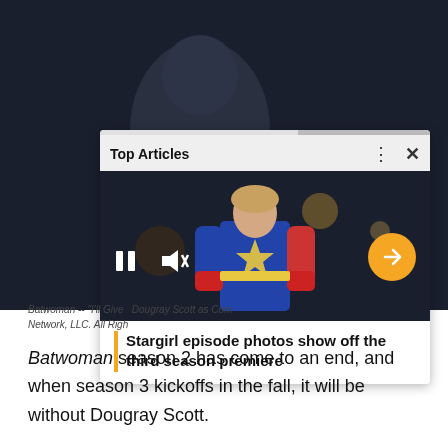[Figure (screenshot): Screenshot of a webpage showing a Batwoman promotional image (man in dark suit against dark background) with an overlaid 'Top Articles' video card showing a Stargirl character in costume, with playback controls (pause button, mute icon), a yellow arrow button, and a headline 'Stargirl episode photos show off the third season premiere']
Batwoman -- "I'll Give ... Dougray Scott as Com... Network, LLC. All Righ...
Batwoman season 2 has come to an end, and when season 3 kickoffs in the fall, it will be without Dougray Scott.